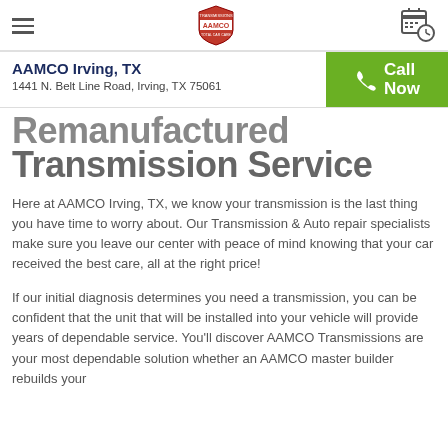AAMCO Irving, TX | 1441 N. Belt Line Road, Irving, TX 75061 | Call Now
Remanufactured Transmission Service
Here at AAMCO Irving, TX, we know your transmission is the last thing you have time to worry about. Our Transmission & Auto repair specialists make sure you leave our center with peace of mind knowing that your car received the best care, all at the right price!
If our initial diagnosis determines you need a transmission, you can be confident that the unit that will be installed into your vehicle will provide years of dependable service. You'll discover AAMCO Transmissions are your most dependable solution whether an AAMCO master builder rebuilds your